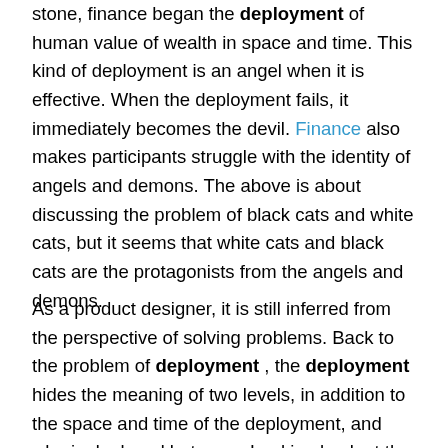stone, finance began the deployment of human value of wealth in space and time. This kind of deployment is an angel when it is effective. When the deployment fails, it immediately becomes the devil. Finance also makes participants struggle with the identity of angels and demons. The above is about discussing the problem of black cats and white cats, but it seems that white cats and black cats are the protagonists from the angels and demons.
As a product designer, it is still inferred from the perspective of solving problems. Back to the problem of deployment , the deployment hides the meaning of two levels, in addition to the space and time of the deployment, and who is deployed between. Looking back at the last round of bull market in the blockchain, the 1CO is booming between investors and blockchain entrepreneurs. It is a global financing act in space, and investors and